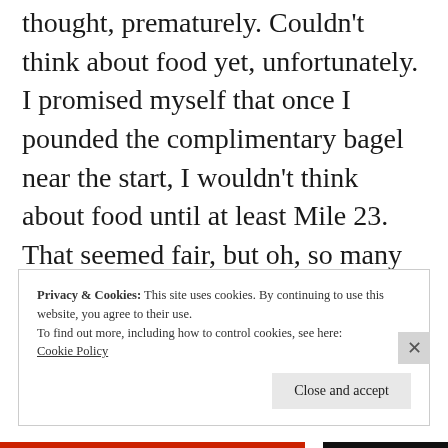thought, prematurely. Couldn't think about food yet, unfortunately. I promised myself that once I pounded the complimentary bagel near the start, I wouldn't think about food until at least Mile 23. That seemed fair, but oh, so many damn miles away. Lets think elsewhere. Lets listen to some music.
Privacy & Cookies: This site uses cookies. By continuing to use this website, you agree to their use.
To find out more, including how to control cookies, see here: Cookie Policy
Close and accept